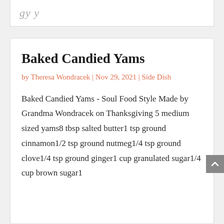Baked Candied Yams
by Theresa Wondracek | Nov 29, 2021 | Side Dish
Baked Candied Yams - Soul Food Style Made by Grandma Wondracek on Thanksgiving 5 medium sized yams8 tbsp salted butter1 tsp ground cinnamon1/2 tsp ground nutmeg1/4 tsp ground clove1/4 tsp ground ginger1 cup granulated sugar1/4 cup brown sugar1 clove…